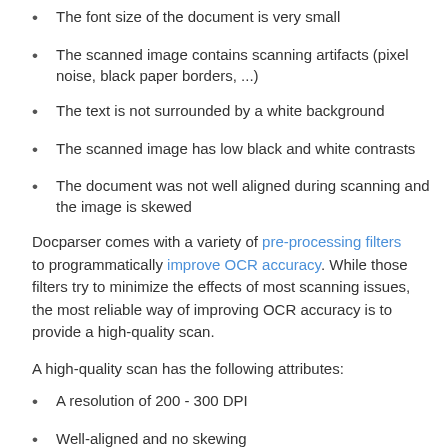The font size of the document is very small
The scanned image contains scanning artifacts (pixel noise, black paper borders, ...)
The text is not surrounded by a white background
The scanned image has low black and white contrasts
The document was not well aligned during scanning and the image is skewed
Docparser comes with a variety of pre-processing filters to programmatically improve OCR accuracy. While those filters try to minimize the effects of most scanning issues, the most reliable way of improving OCR accuracy is to provide a high-quality scan.
A high-quality scan has the following attributes:
A resolution of 200 - 300 DPI
Well-aligned and no skewing
High black & white contrasts